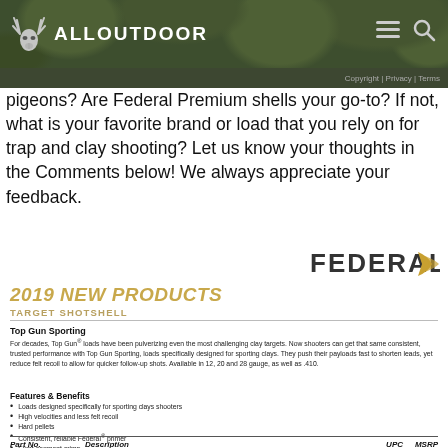ALLOUTDOOR | Copyright | Privacy | Terms
pigeons? Are Federal Premium shells your go-to? If not, what is your favorite brand or load that you rely on for trap and clay shooting? Let us know your thoughts in the Comments below! We always appreciate your feedback.
[Figure (logo): Federal 2019 New Products logo with gold arrow motif]
2019 NEW PRODUCTS
TARGET SHOTSHELL
Top Gun Sporting
For decades, Top Gun® loads have been pulverizing even the most challenging clay targets. Now shooters can get that same consistent, trusted performance with Top Gun Sporting, loads specifically designed for sporting clays. They push their payloads fast to shorten leads, yet reduce felt recoil to allow for quicker follow-up shots. Available in 12, 20 and 28 gauge, as well as .410.
Features & Benefits
Loads designed specifically for sporting clays shooters
High velocities and less felt recoil
Hard pellets
Consistent, reliable Federal® primer
Eight-segment crimp
Unique wad column produces consistent patterns
| Part No. | Description | UPC | MSRP |
| --- | --- | --- | --- |